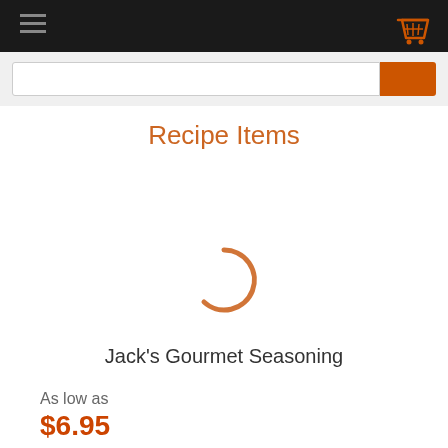Navigation bar with hamburger menu and cart icon
Recipe Items
[Figure (other): Loading spinner - partial orange circle arc indicating content loading]
Jack's Gourmet Seasoning
As low as
$6.95